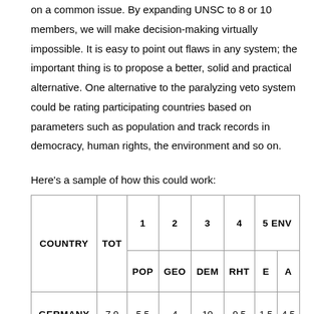on a common issue. By expanding UNSC to 8 or 10 members, we will make decision-making virtually impossible. It is easy to point out flaws in any system; the important thing is to propose a better, solid and practical alternative. One alternative to the paralyzing veto system could be rating participating countries based on parameters such as population and track records in democracy, human rights, the environment and so on.
Here’s a sample of how this could work:
| COUNTRY | TOT | 1 | 2 | 3 | 4 | 5 ENV |
| --- | --- | --- | --- | --- | --- | --- |
|  | 10 | POP | GEO | DEM | RHT | E | A |
| GERMANY | 7.9 | 5.5 | 4 | 10 | 9.5 | 1.5 | 4.5 |
| INDIA | 6.5 | 9.5 | 6.5 | 8 | 7.5 | 3 |  |